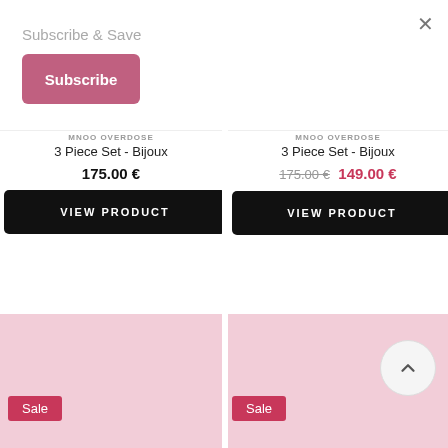Subscribe & Save
Subscribe
MNOO OVERDOSE
3 Piece Set - Bijoux
175.00 €
VIEW PRODUCT
MNOO OVERDOSE
3 Piece Set - Bijoux
175.00 € 149.00 €
VIEW PRODUCT
Sale
Sale